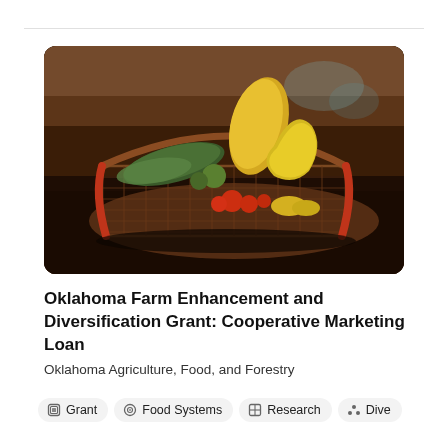[Figure (photo): A wire shopping basket filled with fresh vegetables including zucchini, yellow squash, yellow peppers, cherry tomatoes, and other produce, sitting on a dark wooden surface.]
Oklahoma Farm Enhancement and Diversification Grant: Cooperative Marketing Loan
Oklahoma Agriculture, Food, and Forestry
Grant
Food Systems
Research
Dive